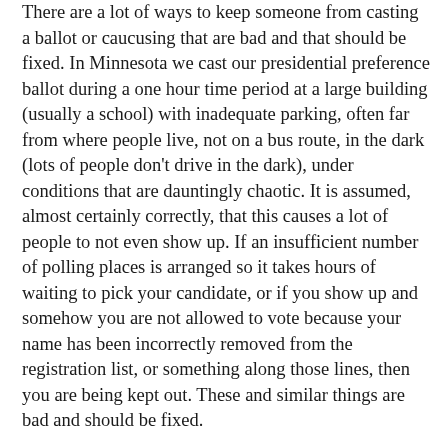There are a lot of ways to keep someone from casting a ballot or caucusing that are bad and that should be fixed. In Minnesota we cast our presidential preference ballot during a one hour time period at a large building (usually a school) with inadequate parking, often far from where people live, not on a bus route, in the dark (lots of people don't drive in the dark), under conditions that are dauntingly chaotic. It is assumed, almost certainly correctly, that this causes a lot of people to not even show up. If an insufficient number of polling places is arranged so it takes hours of waiting to pick your candidate, or if you show up and somehow you are not allowed to vote because your name has been incorrectly removed from the registration list, or something along those lines, then you are being kept out. These and similar things are bad and should be fixed.
But a lot of the “kept from” stuff is not about any of that. Rather, it is about the particular rules a party uses (or all